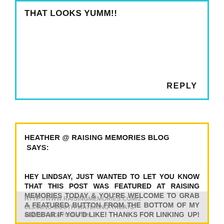THAT LOOKS YUMM!!
REPLY
HEATHER @ RAISING MEMORIES BLOG SAYS:
HEY LINDSAY, JUST WANTED TO LET YOU KNOW THAT THIS POST WAS FEATURED AT RAISING MEMORIES TODAY & YOU'RE WELCOME TO GRAB A FEATURED BUTTON FROM THE BOTTOM OF MY SIDEBAR IF YOU'D LIKE! THANKS FOR LINKING UP! HTTP://WWW.RAISINGMEMORIES.COM/2013/03/10-MOUTH-WATERING-TREATS-FEATURING-YOU.HTML